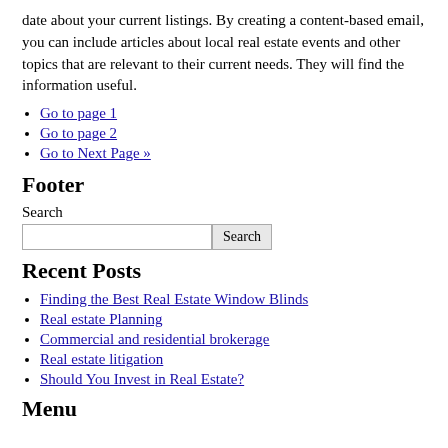date about your current listings. By creating a content-based email, you can include articles about local real estate events and other topics that are relevant to their current needs. They will find the information useful.
Go to page 1
Go to page 2
Go to Next Page »
Footer
Search
Recent Posts
Finding the Best Real Estate Window Blinds
Real estate Planning
Commercial and residential brokerage
Real estate litigation
Should You Invest in Real Estate?
Menu